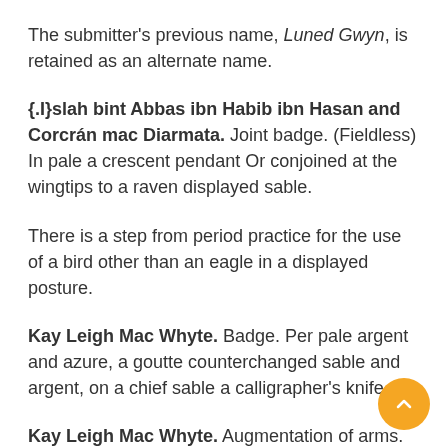The submitter's previous name, Luned Gwyn, is retained as an alternate name.
{.I}slah bint Abbas ibn Habib ibn Hasan and Corcrán mac Diarmata. Joint badge. (Fieldless) In pale a crescent pendant Or conjoined at the wingtips to a raven displayed sable.
There is a step from period practice for the use of a bird other than an eagle in a displayed posture.
Kay Leigh Mac Whyte. Badge. Per pale argent and azure, a goutte counterchanged sable and argent, on a chief sable a calligrapher's knife Or.
Kay Leigh Mac Whyte. Augmentation of arms. Sable, three quill pens in pile argent and a bordure